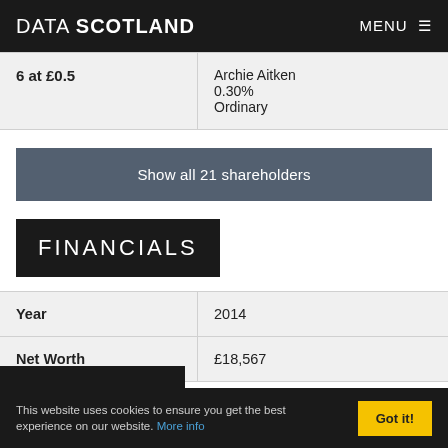DATA SCOTLAND   MENU ☰
|  |  |
| --- | --- |
| 6 at £0.5 | Archie Aitken
0.30%
Ordinary |
Show all 21 shareholders
FINANCIALS
| Year | 2014 |
| --- | --- |
| Year | 2014 |
| Net Worth | £18,567 |
This website uses cookies to ensure you get the best experience on our website. More info
Got it!